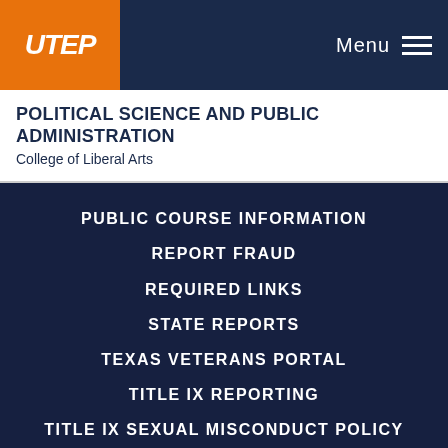UTEP logo and Menu navigation
POLITICAL SCIENCE AND PUBLIC ADMINISTRATION
College of Liberal Arts
PUBLIC COURSE INFORMATION
REPORT FRAUD
REQUIRED LINKS
STATE REPORTS
TEXAS VETERANS PORTAL
TITLE IX REPORTING
TITLE IX SEXUAL MISCONDUCT POLICY
UT SYSTEM
WEB ACCESSIBILITY
WEB PRIVACY POLICY